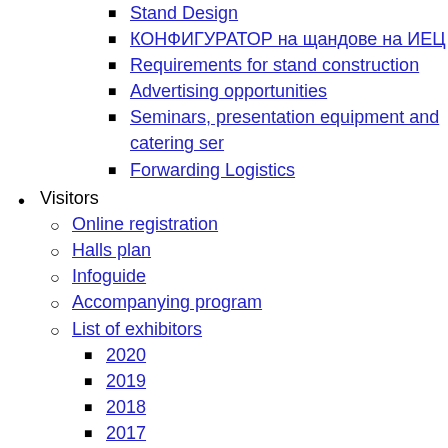Stand Design
КОНФИГУРАТОР на щандове на ИЕЦ
Requirements for stand construction
Advertising opportunities
Seminars, presentation equipment and catering ser
Forwarding Logistics
Visitors
Online registration
Halls plan
Infoguide
Accompanying program
List of exhibitors
2020
2019
2018
2017
Useful information
Opening times and admission
How to get to Inter Expo Center?
Accommodation
Parking
Free Wi-Fi
List of exhibitors
Main Exhibitors